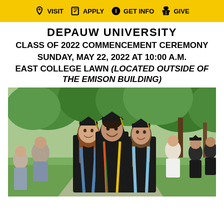VISIT  APPLY  GET INFO  GIVE
DEPAUW UNIVERSITY
CLASS OF 2022 COMMENCEMENT CEREMONY
SUNDAY, MAY 22, 2022 AT 10:00 A.M.
EAST COLLEGE LAWN (LOCATED OUTSIDE OF THE EMISON BUILDING)
[Figure (photo): Three graduates in black caps and gowns smiling at the camera outdoors on a green lawn with trees in the background. Others in the background appear to be socializing after the ceremony.]